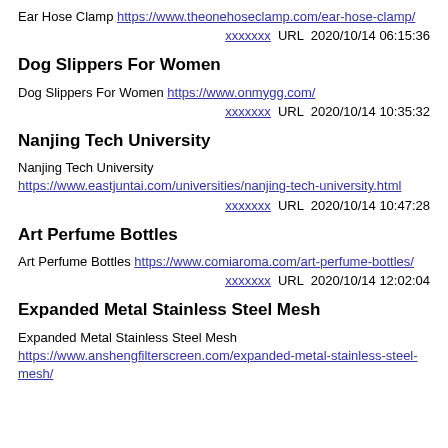Ear Hose Clamp https://www.theonehoseclamp.com/ear-hose-clamp/
xxxxxxx URL 2020/10/14 06:15:36
Dog Slippers For Women
Dog Slippers For Women https://www.onmygg.com/
xxxxxxx URL 2020/10/14 10:35:32
Nanjing Tech University
Nanjing Tech University https://www.eastjuntai.com/universities/nanjing-tech-university.html
xxxxxxx URL 2020/10/14 10:47:28
Art Perfume Bottles
Art Perfume Bottles https://www.comiaroma.com/art-perfume-bottles/
xxxxxxx URL 2020/10/14 12:02:04
Expanded Metal Stainless Steel Mesh
Expanded Metal Stainless Steel Mesh https://www.anshengfilterscreen.com/expanded-metal-stainless-steel-mesh/